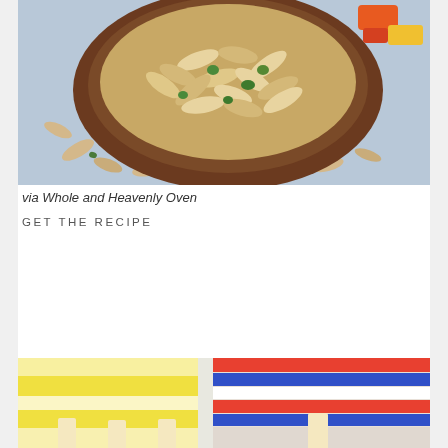[Figure (photo): Overhead photo of a brown wooden bowl filled with sliced almonds, fresh herbs/parsley, and colorful vegetables on a light blue surface, with scattered almonds and herbs around the bowl.]
via Whole and Heavenly Oven
GET THE RECIPE
STRIPED JUICE POPSICLES
[Figure (photo): Close-up photo of colorful striped juice popsicles showing horizontal stripes of yellow, white, red, blue, and other colors, with white popsicle sticks visible.]